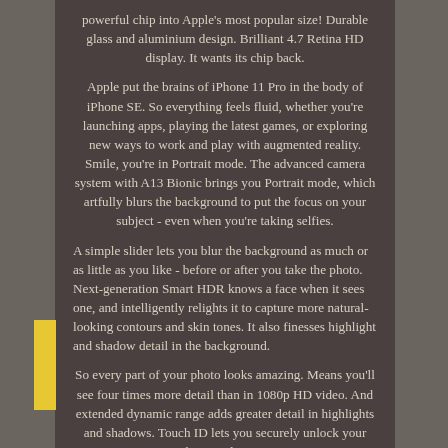powerful chip into Apple's most popular size! Durable glass and aluminium design. Brilliant 4.7 Retina HD display. It wants its chip back.
Apple put the brains of iPhone 11 Pro in the body of iPhone SE. So everything feels fluid, whether you're launching apps, playing the latest games, or exploring new ways to work and play with augmented reality. Smile, you're in Portrait mode. The advanced camera system with A13 Bionic brings you Portrait mode, which artfully blurs the background to put the focus on your subject - even when you're taking selfies.
A simple slider lets you blur the background as much or as little as you like - before or after you take the photo. Next-generation Smart HDR knows a face when it sees one, and intelligently relights it to capture more natural-looking contours and skin tones. It also finesses highlight and shadow detail in the background.
So every part of your photo looks amazing. Means you'll see four times more detail than in 1080p HD video. And extended dynamic range adds greater detail in highlights and shadows. Touch ID lets you securely unlock your iPhone and sign in.